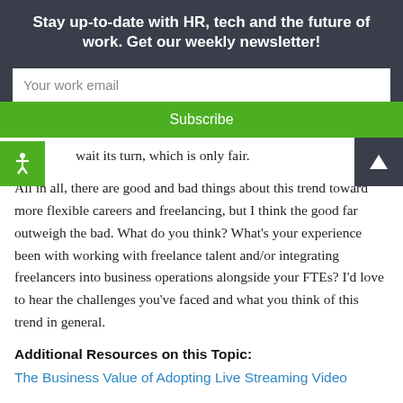Stay up-to-date with HR, tech and the future of work. Get our weekly newsletter!
Your work email
Subscribe
wait its turn, which is only fair.
All in all, there are good and bad things about this trend toward more flexible careers and freelancing, but I think the good far outweigh the bad. What do you think? What's your experience been with working with freelance talent and/or integrating freelancers into business operations alongside your FTEs? I'd love to hear the challenges you've faced and what you think of this trend in general.
Additional Resources on this Topic:
The Business Value of Adopting Live Streaming Video